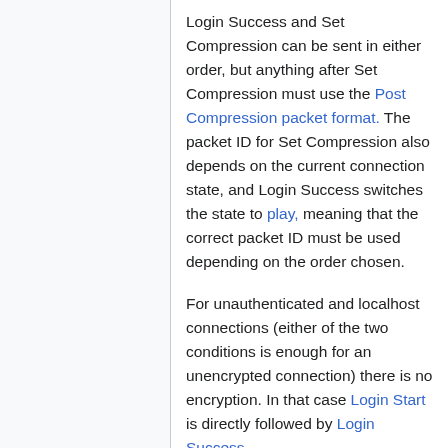Login Success and Set Compression can be sent in either order, but anything after Set Compression must use the Post Compression packet format. The packet ID for Set Compression also depends on the current connection state, and Login Success switches the state to play, meaning that the correct packet ID must be used depending on the order chosen.
For unauthenticated and localhost connections (either of the two conditions is enough for an unencrypted connection) there is no encryption. In that case Login Start is directly followed by Login Success. See Protocol Encryption for details.
Clientbound